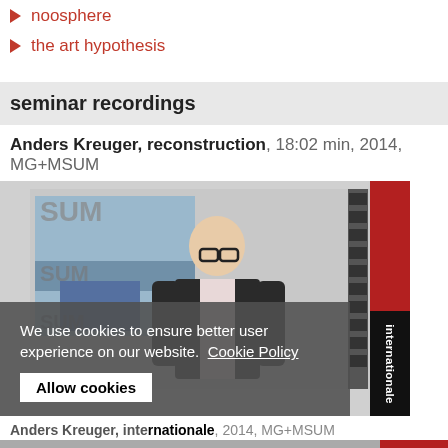noosphere
the art hypothesis
seminar recordings
Anders Kreuger, reconstruction, 18:02 min, 2014, MG+MSUM
[Figure (photo): Video thumbnail showing a man in a black vest and glasses presenting in front of a screen displaying a building image, with SUM text visible. A red strip is on the right.]
We use cookies to ensure better user experience on our website.  Cookie Policy
Allow cookies
Anders Kreuger, internationale, 2014, MG+MSUM
[Figure (photo): Partial view of another video thumbnail at the bottom of the page.]